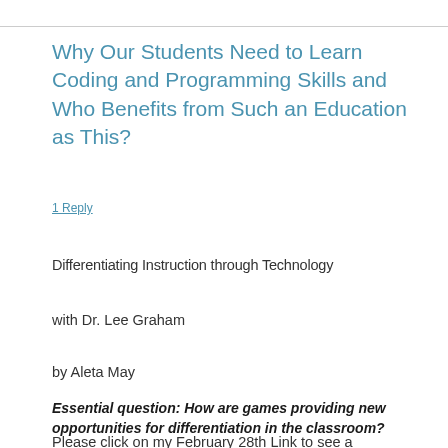Why Our Students Need to Learn Coding and Programming Skills and Who Benefits from Such an Education as This?
1 Reply
Differentiating Instruction through Technology
with Dr. Lee Graham
by Aleta May
Essential question: How are games providing new opportunities for differentiation in the classroom?
Please click on my February 28th Link to see a PowerPoint Slideshow